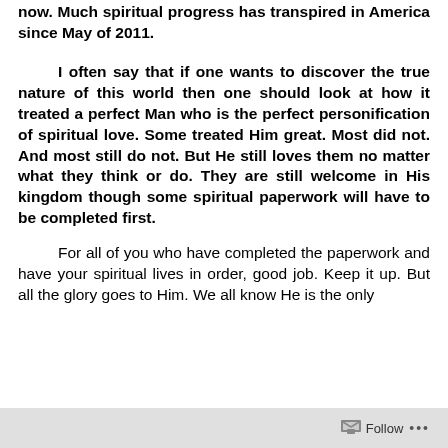now. Much spiritual progress has transpired in America since May of 2011.
I often say that if one wants to discover the true nature of this world then one should look at how it treated a perfect Man who is the perfect personification of spiritual love. Some treated Him great. Most did not. And most still do not. But He still loves them no matter what they think or do. They are still welcome in His kingdom though some spiritual paperwork will have to be completed first.
For all of you who have completed the paperwork and have your spiritual lives in order, good job. Keep it up. But all the glory goes to Him. We all know He is the only
Follow ...